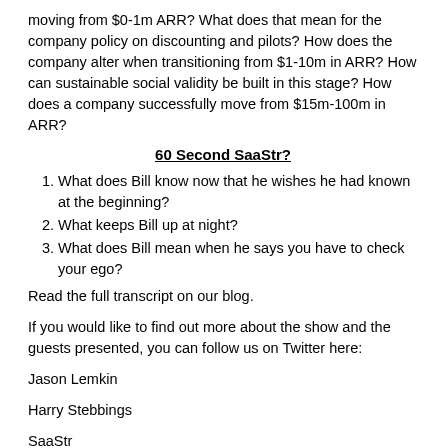moving from $0-1m ARR? What does that mean for the company policy on discounting and pilots? How does the company alter when transitioning from $1-10m in ARR? How can sustainable social validity be built in this stage? How does a company successfully move from $15m-100m in ARR?
60 Second SaaStr?
What does Bill know now that he wishes he had known at the beginning?
What keeps Bill up at night?
What does Bill mean when he says you have to check your ego?
Read the full transcript on our blog.
If you would like to find out more about the show and the guests presented, you can follow us on Twitter here:
Jason Lemkin
Harry Stebbings
SaaStr
Bill Binch
If you're looking to simplify file version control, ensure data security and save time while increasing accessibility, Egnyte is the right solution for your